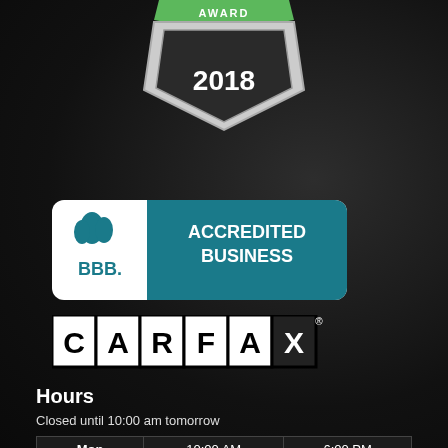[Figure (logo): Award badge 2018 with hexagonal shield shape and green banner at top reading AWARD]
[Figure (logo): BBB Accredited Business logo with teal background and flame/torch emblem]
[Figure (logo): CARFAX logo with individual letters in black-bordered white boxes]
Hours
Closed until 10:00 am tomorrow
| Day | Open | Close |
| --- | --- | --- |
| Mon | 10:00 AM | 6:00 PM |
| Tue | 10:00 AM | 6:00 PM |